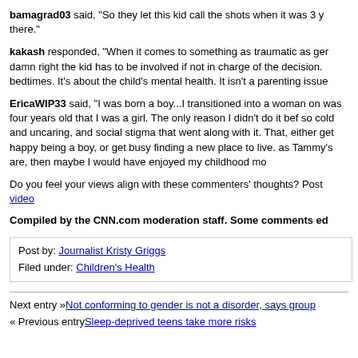bamagrad03 said, “So they let this kid call the shots when it was 3 y there.”
kakash responded, “When it comes to something as traumatic as ger damn right the kid has to be involved if not in charge of the decision. bedtimes. It’s about the child’s mental health. It isn’t a parenting issue
EricaWIP33 said, “I was born a boy...I transitioned into a woman on was four years old that I was a girl. The only reason I didn’t do it bef so cold and uncaring, and social stigma that went along with it. That, either get happy being a boy, or get busy finding a new place to live. as Tammy’s are, then maybe I would have enjoyed my childhood mo
Do you feel your views align with these commenters’ thoughts? Post video
Compiled by the CNN.com moderation staff. Some comments ed
Post by: Journalist Kristy Griggs
Filed under: Children’s Health
Next entry »Not conforming to gender is not a disorder, says group
« Previous entrySleep-deprived teens take more risks